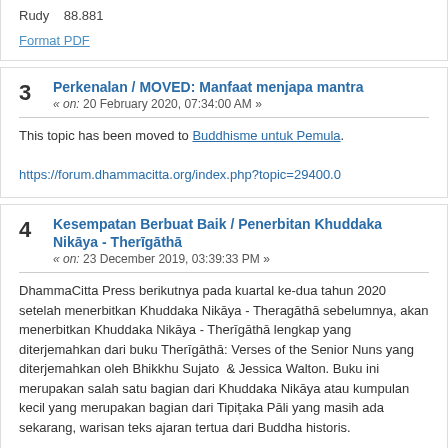Rudy    88.881
Format PDF
Perkenalan / MOVED: Manfaat menjapa mantra
« on: 20 February 2020, 07:34:00 AM »
This topic has been moved to Buddhisme untuk Pemula.
https://forum.dhammacitta.org/index.php?topic=29400.0
Kesempatan Berbuat Baik / Penerbitan Khuddaka Nikāya - Therīgāthā
« on: 23 December 2019, 03:39:33 PM »
DhammaCitta Press berikutnya pada kuartal ke-dua tahun 2020 setelah menerbitkan Khuddaka Nikāya - Theragāthā sebelumnya, akan menerbitkan Khuddaka Nikāya - Therīgāthā lengkap yang diterjemahkan dari buku Therīgāthā: Verses of the Senior Nuns yang diterjemahkan oleh Bhikkhu Sujato  & Jessica Walton. Buku ini merupakan salah satu bagian dari Khuddaka Nikāya atau kumpulan kecil yang merupakan bagian dari Tipiṭaka Pāli yang masih ada sekarang, warisan teks ajaran tertua dari Buddha historis.